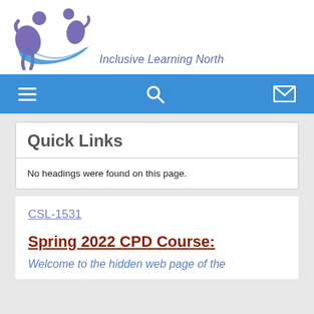[Figure (logo): Inclusive Learning North logo with two stylized figures in purple and blue, with a blue swoosh]
Inclusive Learning North
[Figure (screenshot): Blue navigation bar with hamburger menu icon, search icon, and email icon]
Quick Links
No headings were found on this page.
CSL-1531
Spring 2022 CPD Course:
Welcome to the hidden web page of the